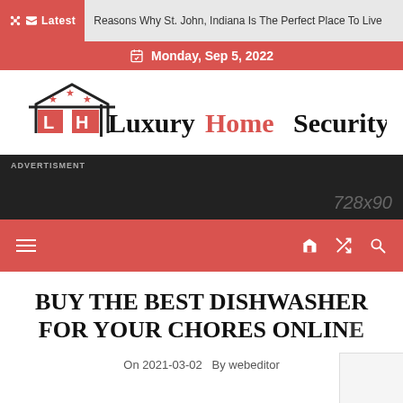Latest | Reasons Why St. John, Indiana Is The Perfect Place To Live
Monday, Sep 5, 2022
[Figure (logo): LuxuryHomeSecurity logo with house icon and LH letters in red/black]
[Figure (other): Advertisement banner placeholder 728x90]
Navigation bar with hamburger menu, home icon, shuffle icon, search icon
BUY THE BEST DISHWASHER FOR YOUR CHORES ONLINE
On 2021-03-02  By webeditor